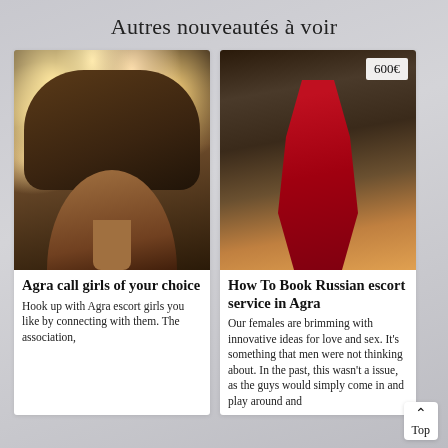Autres nouveautés à voir
[Figure (photo): Portrait of a young woman with dark lipstick and a black choker necklace, bokeh light effects in background]
[Figure (photo): Woman in a red satin dress posing in a room, price badge showing 600€]
Agra call girls of your choice
Hook up with Agra escort girls you like by connecting with them. The association,
How To Book Russian escort service in Agra
Our females are brimming with innovative ideas for love and sex. It's something that men were not thinking about. In the past, this wasn't a issue, as the guys would simply come in and play around and